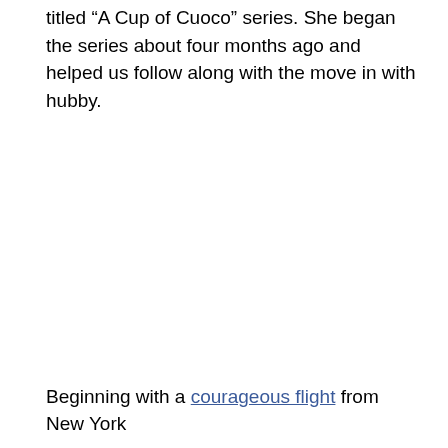titled “A Cup of Cuoco” series. She began the series about four months ago and helped us follow along with the move in with hubby.
Beginning with a courageous flight from New York